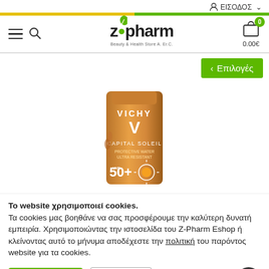ΕΙΣΟΔΟΣ
[Figure (logo): Z-Pharm Beauty & Health Store logo with green leaf and shopping cart badge showing 0 items, 0.00€]
[Figure (photo): Vichy Capital Soleil SPF 50+ sunscreen product in bronze/gold packaging]
Το website χρησιμοποιεί cookies. Τα cookies μας βοηθάνε να σας προσφέρουμε την καλύτερη δυνατή εμπειρία. Χρησιμοποιώντας την ιστοσελίδα του Z-Pharm Eshop ή κλείνοντας αυτό το μήνυμα αποδέχεστε την πολιτική του παρόντος website για τα cookies.
Αποδέχομαι
Ρυθμίσεις